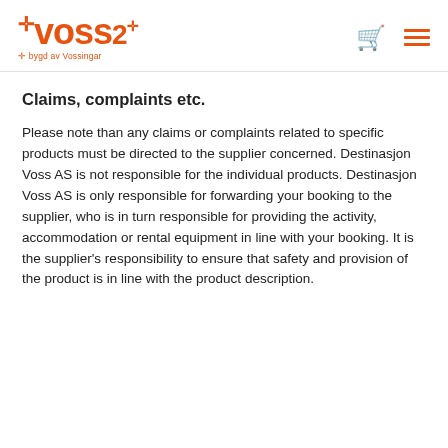[Figure (logo): Voss logo in orange with cross symbol and tagline 'bygd av Vossingar']
Claims, complaints etc.
Please note than any claims or complaints related to specific products must be directed to the supplier concerned. Destinasjon Voss AS is not responsible for the individual products. Destinasjon Voss AS is only responsible for forwarding your booking to the supplier, who is in turn responsible for providing the activity, accommodation or rental equipment in line with your booking. It is the supplier's responsibility to ensure that safety and provision of the product is in line with the product description.